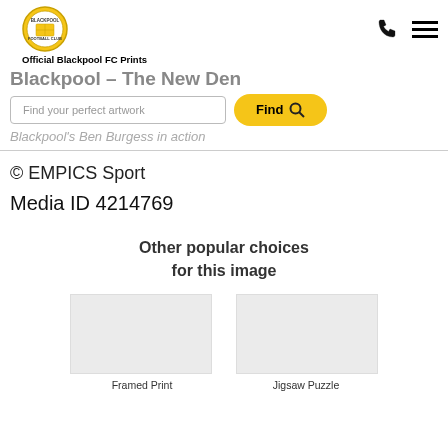[Figure (logo): Blackpool FC circular crest logo in gold and black]
Official Blackpool FC Prints
Blackpool – The New Den
Find your perfect artwork
Find
Blackpool's Ben Burgess in action
© EMPICS Sport
Media ID 4214769
Other popular choices for this image
Framed Print
Jigsaw Puzzle